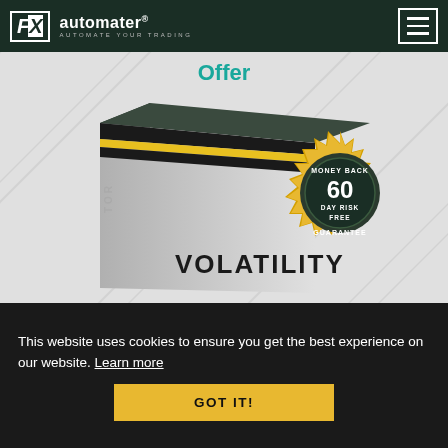FX automater® - AUTOMATE YOUR TRADING
Offer
[Figure (illustration): Product box for a trading software called VOLATILITY with a Money Back 60 Day Risk Free Guarantee badge, on a light gray background with diagonal line patterns]
This website uses cookies to ensure you get the best experience on our website. Learn more
GOT IT!